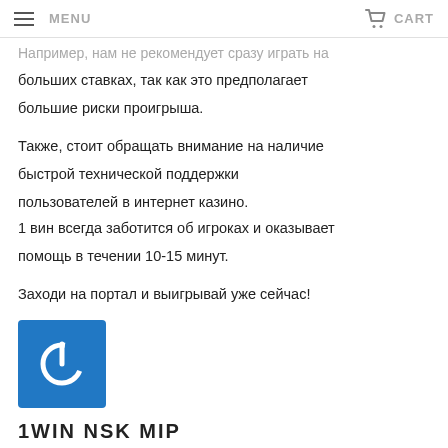MENU  CART
Например, нам не рекомендует сразу играть на больших ставках, так как это предполагает большие риски проигрыша.
Также, стоит обращать внимание на наличие быстрой технической поддержки пользователей в интернет казино.
1 вин всегда заботится об игроках и оказывает помощь в течении 10-15 минут.
Заходи на портал и выигрывай уже сейчас!
[Figure (logo): Blue square logo with white power button icon]
1WIN NSK MIP